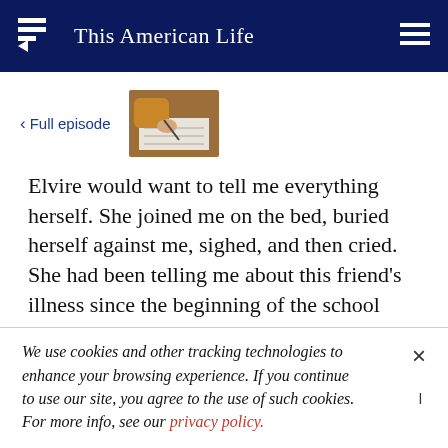This American Life
< Full episode
[Figure (photo): Thumbnail image of a person's hands writing on paper, wearing a yellow/mustard sleeve, on a wooden desk.]
Elvire would want to tell me everything herself. She joined me on the bed, buried herself against me, sighed, and then cried. She had been telling me about this friend's illness since the beginning of the school
We use cookies and other tracking technologies to enhance your browsing experience. If you continue to use our site, you agree to the use of such cookies. For more info, see our privacy policy.
asking her whether she had forgotten